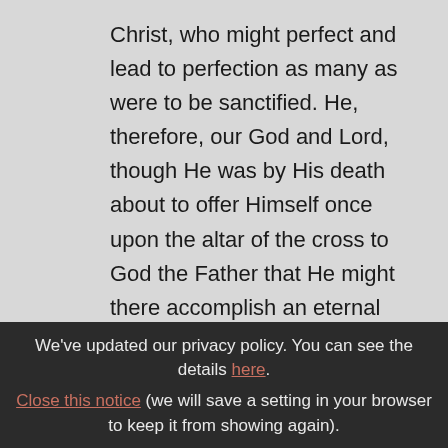Christ, who might perfect and lead to perfection as many as were to be sanctified. He, therefore, our God and Lord, though He was by His death about to offer Himself once upon the altar of the cross to God the Father that He might there accomplish an eternal redemption, nevertheless, that His priesthood might not come to an end with His death,[2] at the last supper, on the night He was betrayed, that He might leave to His beloved spouse the
We've updated our privacy policy. You can see the details here.
Close this notice (we will save a setting in your browser to keep it from showing again).